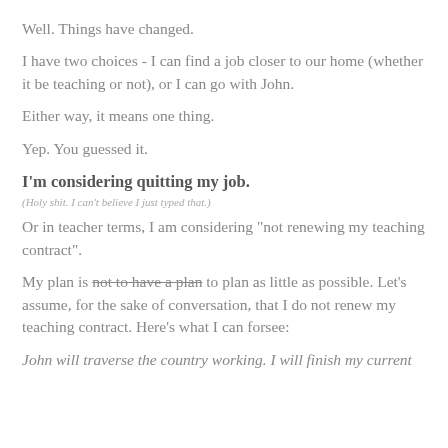Well. Things have changed.
I have two choices - I can find a job closer to our home (whether it be teaching or not), or I can go with John.
Either way, it means one thing.
Yep. You guessed it.
I'm considering quitting my job.
(Holy shit. I can't believe I just typed that.)
Or in teacher terms, I am considering "not renewing my teaching contract".
My plan is not to have a plan to plan as little as possible. Let's assume, for the sake of conversation, that I do not renew my teaching contract. Here's what I can forsee:
John will traverse the country working. I will finish my current